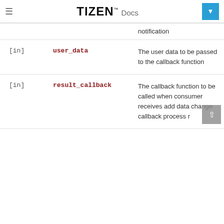TIZEN Docs
| Direction | Parameter | Description |
| --- | --- | --- |
| [in] | notification | notification |
| [in] | user_data | The user data to be passed to the callback function |
| [in] | result_callback | The callback function to be called when consumer receives add data change callback process r... |